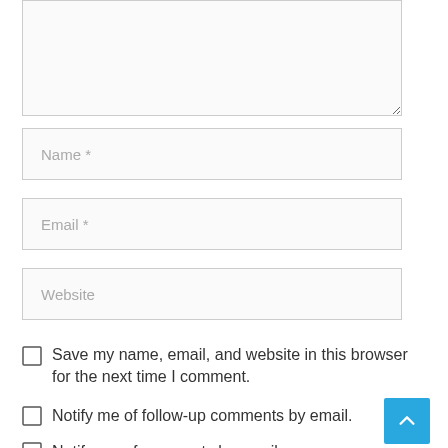[Figure (screenshot): A textarea input field (comment box) with a light gray background and border, resizable handle at bottom-right corner.]
Name *
Email *
Website
Save my name, email, and website in this browser for the next time I comment.
Notify me of follow-up comments by email.
Notify me of new posts by email.